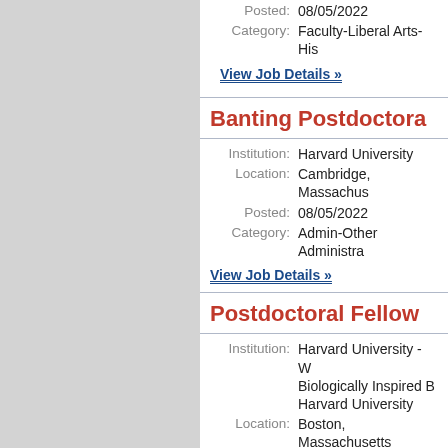Posted: 08/05/2022
Category: Faculty-Liberal Arts-His
View Job Details »
Banting Postdoctora
Institution: Harvard University
Location: Cambridge, Massachus
Posted: 08/05/2022
Category: Admin-Other Administra
View Job Details »
Postdoctoral Fellow
Institution: Harvard University - W
Biologically Inspired B
Harvard University
Location: Boston, Massachusetts